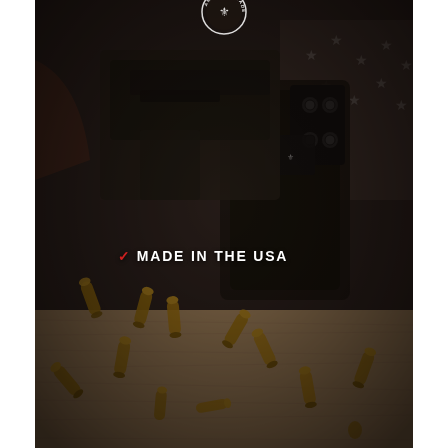[Figure (photo): Dark-toned photograph of a gun holster with a firearm, an American flag background, and scattered bullet casings on a wooden surface. A circular badge logo reading 'AMERICAN MADE' appears at the top center.]
✓ MADE IN THE USA